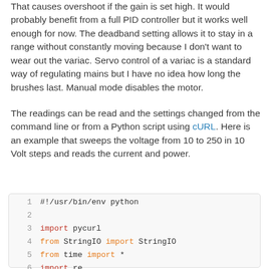That causes overshoot if the gain is set high. It would probably benefit from a full PID controller but it works well enough for now. The deadband setting allows it to stay in a range without constantly moving because I don't want to wear out the variac. Servo control of a variac is a standard way of regulating mains but I have no idea how long the brushes last. Manual mode disables the motor.
The readings can be read and the settings changed from the command line or from a Python script using cURL. Here is an example that sweeps the voltage from 10 to 250 in 10 Volt steps and reads the current and power.
[Figure (screenshot): Python code block with syntax highlighting showing lines 1-9: #!/usr/bin/env python, blank, import pycurl, from StringIO import StringIO, from time import *, import re, blank, def curl(url):, buffer = StringIO()]